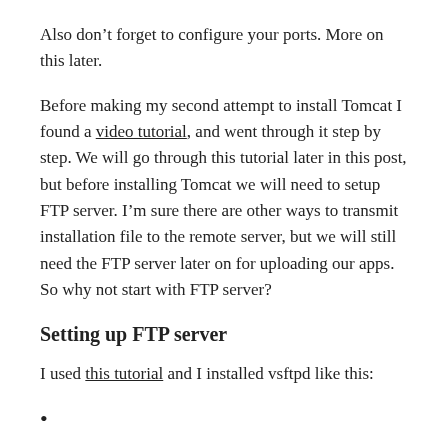Also don’t forget to configure your ports. More on this later.
Before making my second attempt to install Tomcat I found a video tutorial, and went through it step by step. We will go through this tutorial later in this post, but before installing Tomcat we will need to setup FTP server. I’m sure there are other ways to transmit installation file to the remote server, but we will still need the FTP server later on for uploading our apps. So why not start with FTP server?
Setting up FTP server
I used this tutorial and I installed vsftpd like this: